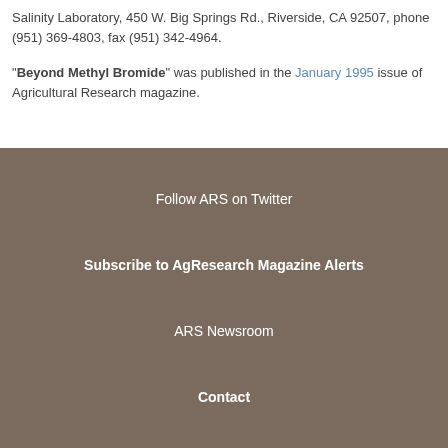Salinity Laboratory, 450 W. Big Springs Rd., Riverside, CA 92507, phone (951) 369-4803, fax (951) 342-4964.
"Beyond Methyl Bromide" was published in the January 1995 issue of Agricultural Research magazine.
Follow ARS on Twitter
Subscribe to AgResearch Magazine Alerts
ARS Newsroom
Contact